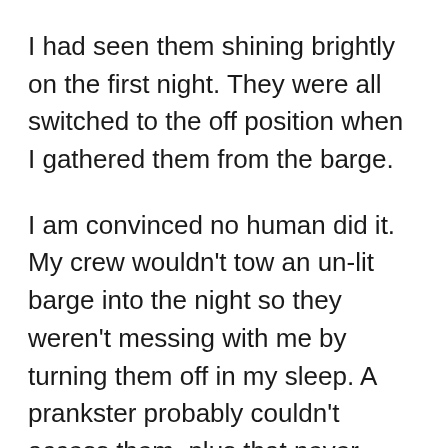I had seen them shining brightly on the first night. They were all switched to the off position when I gathered them from the barge.
I am convinced no human did it. My crew wouldn't tow an un-lit barge into the night so they weren't messing with me by turning them off in my sleep. A prankster probably couldn't access them, plus that never happens. Even to easily-accessible lights on other tows.
I try to convince myself it was seagulls (which ride our barges by the flock) that